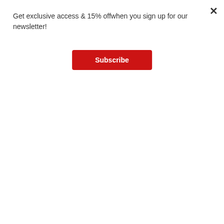Get exclusive access & 15% offwhen you sign up for our newsletter!
Subscribe
Chinese Phoenix Foundation *1
Color Correcting Primer *1
Winged Deer Translucent Compact Powder *1
DESCRIPTION:
Chinese Phoenix Foundation
Featuring a liquid-to-powder formula, which is ideal for combination and oily skin types.
Up to 12h oil-control while balancing the skin's natural oil & water levels.
Skincare ingredients are added to increase skin's natural ability for visible self-repair.
MENU